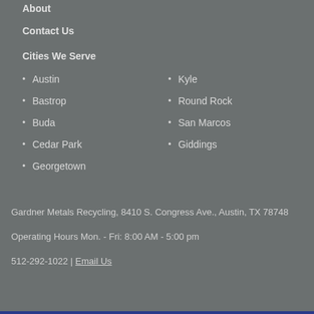About
Contact Us
Cities We Serve
Austin
Bastrop
Buda
Cedar Park
Georgetown
Kyle
Round Rock
San Marcos
Giddings
Gardner Metals Recycling, 8410 S. Congress Ave., Austin, TX 78748
Operating Hours Mon. - Fri: 8:00 AM - 5:00 pm
512-292-1022  |  Email Us